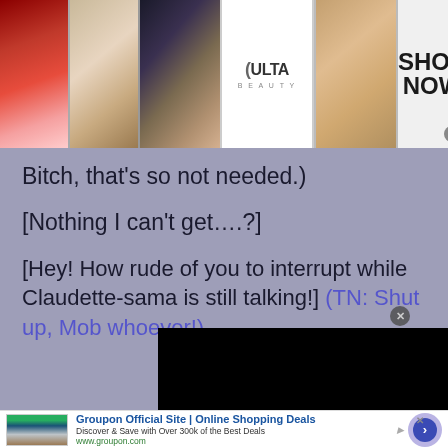[Figure (screenshot): Ulta Beauty banner advertisement with makeup images (lips, brush, eye, Ulta logo, model) and SHOP NOW button]
Bitch, that's so not needed.)
[Nothing I can't get….?]
[Hey! How rude of you to interrupt while Claudette-sama is still talking!] (TN: Shut up, Mob whoever!)
[Figure (screenshot): Black video player overlay in bottom-right corner]
[Figure (screenshot): Groupon advertisement bar: Groupon Official Site | Online Shopping Deals. Discover & Save with Over 300k of the Best Deals. www.groupon.com. With arrow navigation circle.]